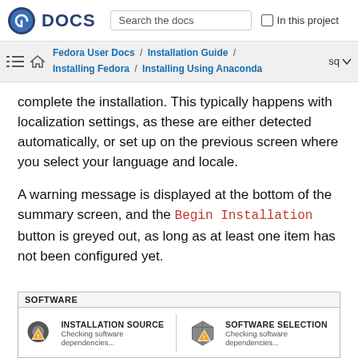DOCS | Search the docs | In this project
Fedora User Docs / Installation Guide / Installing Fedora / Installing Using Anaconda  sq
complete the installation. This typically happens with localization settings, as these are either detected automatically, or set up on the previous screen where you select your language and locale.
A warning message is displayed at the bottom of the summary screen, and the Begin Installation button is greyed out, as long as at least one item has not been configured yet.
[Figure (screenshot): SOFTWARE section of Anaconda installer showing INSTALLATION SOURCE and SOFTWARE SELECTION items, both showing 'Checking software dependencies...' with icons]